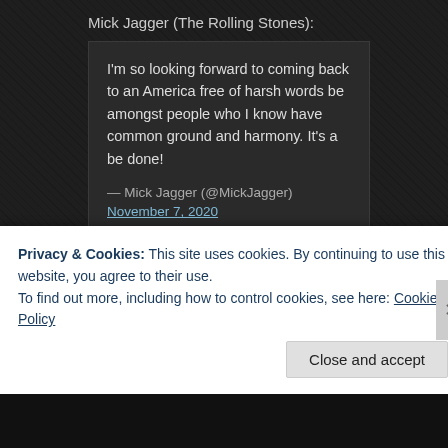Mick Jagger (The Rolling Stones):
I'm so looking forward to coming back to an America free of harsh words be amongst people who I know have common ground and harmony. It's a be done!
— Mick Jagger (@MickJagger) November 7, 2020
Sacred Reich:
Happy to see 'ol Donny relegated to the dustbin of history. Can we all agr "Lame Duck President Trump"? How long do we have to wait before rippi stooge aka "President Elect" Biden? Asking for all my friends.
— Sacred Reich (@SacredReich) November 7, 2020
Privacy & Cookies: This site uses cookies. By continuing to use this website, you agree to their use.
To find out more, including how to control cookies, see here: Cookie Policy
Close and accept